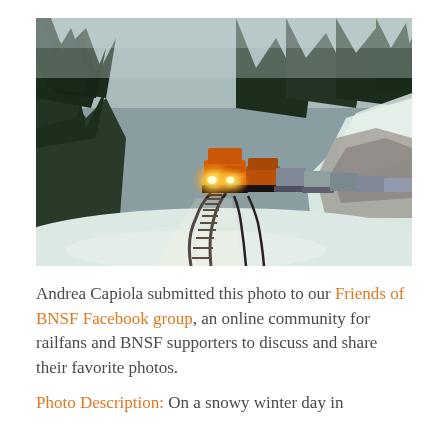[Figure (photo): A BNSF orange locomotive with bright headlights leads a freight train around a curve on snow-covered tracks, surrounded by tall evergreen trees in a winter mountain landscape.]
Andrea Capiola submitted this photo to our Friends of BNSF Facebook group, an online community for railfans and BNSF supporters to discuss and share their favorite photos.
Photo Description: On a snowy winter day in